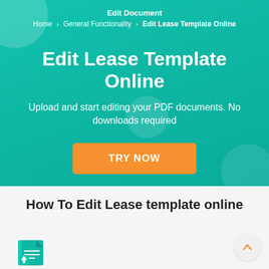Edit Document
Home › General Functionality › Edit Lease Template Online
Edit Lease Template Online
Upload and start editing your PDF documents. No downloads required
TRY NOW
How To Edit Lease template online